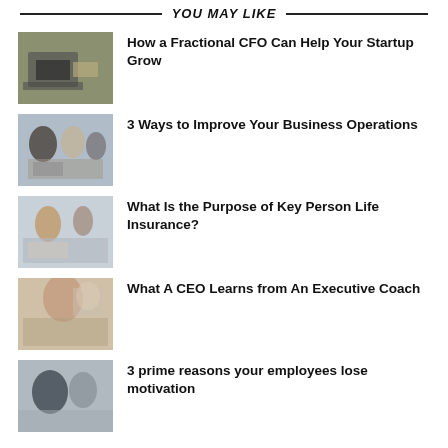YOU MAY LIKE
How a Fractional CFO Can Help Your Startup Grow
3 Ways to Improve Your Business Operations
What Is the Purpose of Key Person Life Insurance?
What A CEO Learns from An Executive Coach
3 prime reasons your employees lose motivation